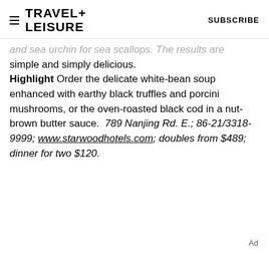TRAVEL+LEISURE  SUBSCRIBE
and sea urchin for sea scallops. The results are simple and simply delicious. Highlight Order the delicate white-bean soup enhanced with earthy black truffles and porcini mushrooms, or the oven-roasted black cod in a nut-brown butter sauce. 789 Nanjing Rd. E.; 86-21/3318-9999; www.starwoodhotels.com; doubles from $489; dinner for two $120.
Ad